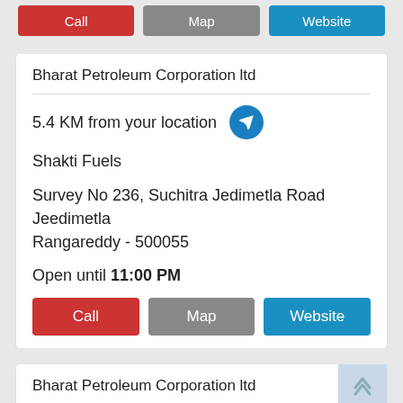[Figure (screenshot): Top strip showing partial Call, Map, Website buttons from previous card]
Bharat Petroleum Corporation ltd
5.4 KM from your location
Shakti Fuels
Survey No 236, Suchitra Jedimetla Road
Jeedimetla
Rangareddy - 500055
Open until 11:00 PM
Call   Map   Website
Bharat Petroleum Corporation ltd
5.6 KM from your location
Thumu Venkatrao Filling Station